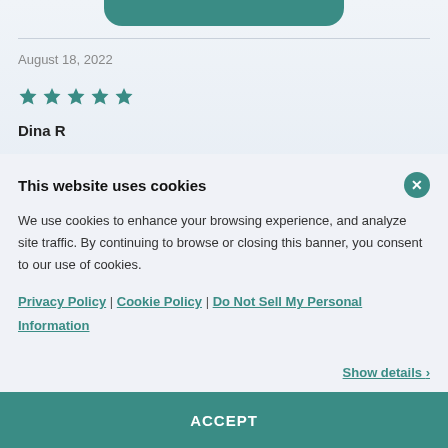August 18, 2022
[Figure (other): 5 green stars rating]
Dina R
This website uses cookies
We use cookies to enhance your browsing experience, and analyze site traffic. By continuing to browse or closing this banner, you consent to our use of cookies.
Privacy Policy | Cookie Policy | Do Not Sell My Personal Information
Show details >
ACCEPT